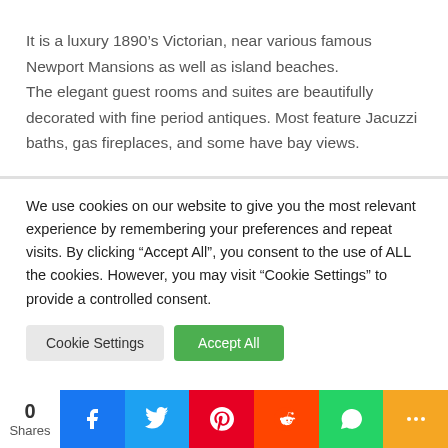It is a luxury 1890’s Victorian, near various famous Newport Mansions as well as island beaches.
The elegant guest rooms and suites are beautifully decorated with fine period antiques. Most feature Jacuzzi baths, gas fireplaces, and some have bay views.
We use cookies on our website to give you the most relevant experience by remembering your preferences and repeat visits. By clicking “Accept All”, you consent to the use of ALL the cookies. However, you may visit “Cookie Settings” to provide a controlled consent.
0 Shares